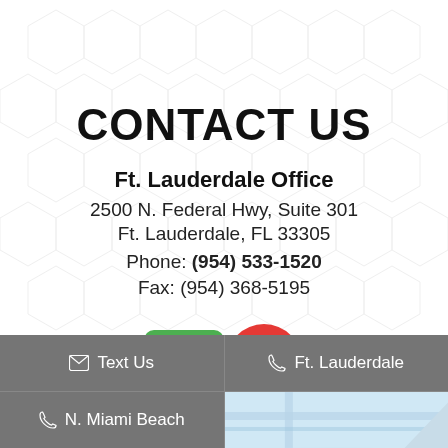CONTACT US
Ft. Lauderdale Office
2500 N. Federal Hwy, Suite 301
Ft. Lauderdale, FL 33305
Phone: (954) 533-1520
Fax: (954) 368-5195
[Figure (other): Google Maps and Maps location pin icons]
Text Us
Ft. Lauderdale
N. Miami Beach